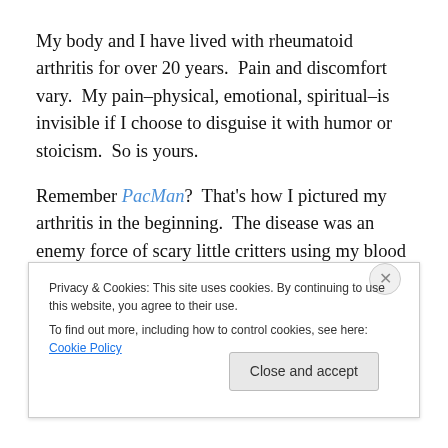My body and I have lived with rheumatoid arthritis for over 20 years.  Pain and discomfort vary.  My pain–physical, emotional, spiritual–is invisible if I choose to disguise it with humor or stoicism.  So is yours.
Remember PacMan?  That's how I pictured my arthritis in the beginning.  The disease was an enemy force of scary little critters using my blood vessels as a superhighway to
Privacy & Cookies: This site uses cookies. By continuing to use this website, you agree to their use.
To find out more, including how to control cookies, see here: Cookie Policy